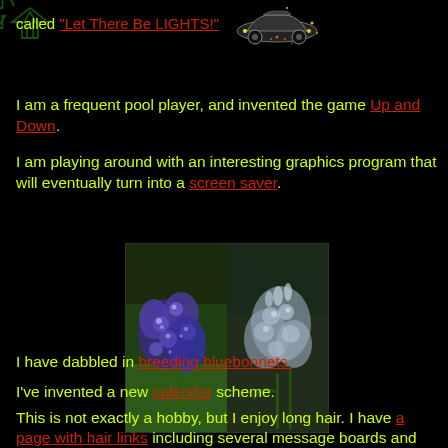called "Let There Be LIGHTS!"
I am a frequent pool player, and invented the game Up and Down.
I am playing around with an interesting graphics program that will eventually turn into a screen saver.
[Figure (photo): Two photos of bluebonnet flowers side by side - left shows purple/blue bluebonnets, right shows lighter colored bluebonnets]
I have dabbled in breeding bluebonnets.
I've invented a new calendar scheme.
This is not exactly a hobby, but I enjoy long hair. I have a page with hair links including several message boards and my own Men's Long Hair Site.